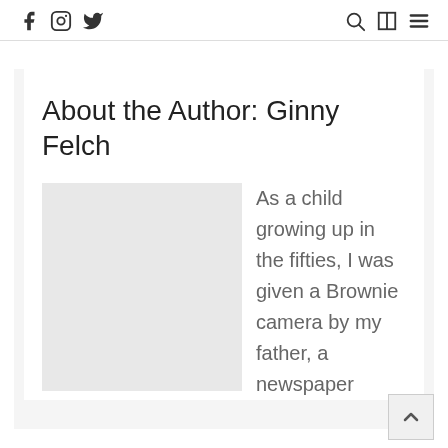f [instagram] [twitter]   [search] [layout] [menu]
About the Author: Ginny Felch
[Figure (photo): Light grey placeholder rectangle representing an author photo]
As a child growing up in the fifties, I was given a Brownie camera by my father, a newspaper